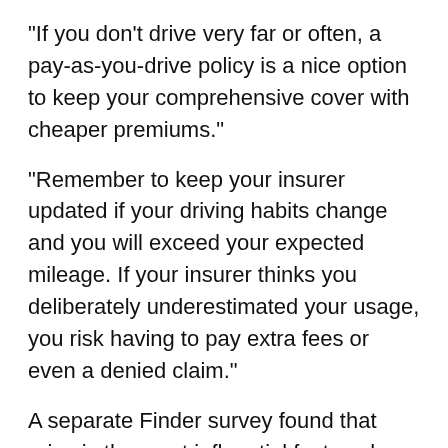"If you don't drive very far or often, a pay-as-you-drive policy is a nice option to keep your comprehensive cover with cheaper premiums."
"Remember to keep your insurer updated if your driving habits change and you will exceed your expected mileage. If your insurer thinks you deliberately underestimated your usage, you risk having to pay extra fees or even a denied claim."
A separate Finder survey found that price is the most influential factor when Australians are buying car insurance.
Over two fifths of Australians (43%) said that price was the top consideration, followed by how comprehensive the policy is (29%).
"Pandemic or not, cost is a major priority for the many Australians.